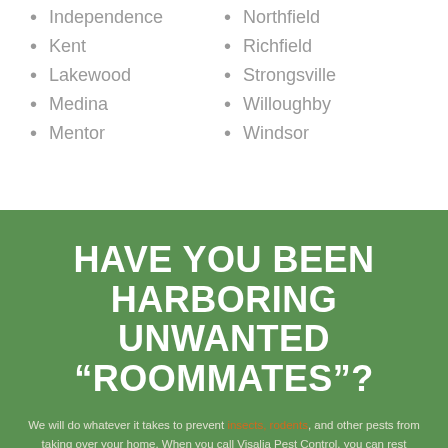Independence
Kent
Lakewood
Medina
Mentor
Northfield
Richfield
Strongsville
Willoughby
Windsor
HAVE YOU BEEN HARBORING UNWANTED “ROOMMATES”?
We will do whatever it takes to prevent insects, rodents, and other pests from taking over your home. When you call Visalia Pest Control, you can rest assured that you will only be referred to the best providers in town! The exterminators in our network are experienced in eradicating ants, fleas, and other pests from homes and business across Visalia.